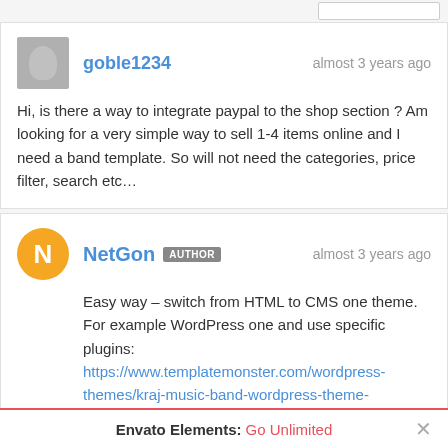goble1234 — almost 3 years ago
Hi, is there a way to integrate paypal to the shop section ? Am looking for a very simple way to sell 1-4 items online and I need a band template. So will not need the categories, price filter, search etc…
NetGon AUTHOR — almost 3 years ago
Easy way – switch from HTML to CMS one theme. For example WordPress one and use specific plugins:
https://www.templatemonster.com/wordpress-themes/kraj-music-band-wordpress-theme-68572.html.
We can also try to adapt it to OpenCart. But price will
Envato Elements: Go Unlimited ×